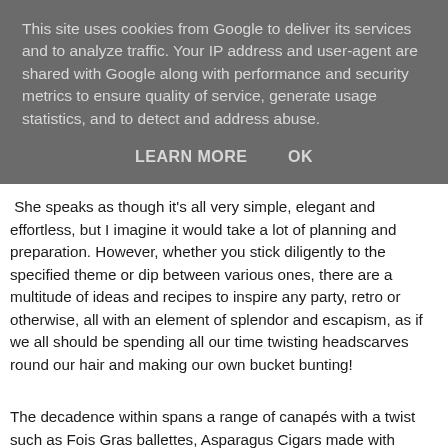This site uses cookies from Google to deliver its services and to analyze traffic. Your IP address and user-agent are shared with Google along with performance and security metrics to ensure quality of service, generate usage statistics, and to detect and address abuse.
LEARN MORE    OK
She speaks as though it's all very simple, elegant and effortless, but I imagine it would take a lot of planning and preparation. However, whether you stick diligently to the specified theme or dip between various ones, there are a multitude of ideas and recipes to inspire any party, retro or otherwise, all with an element of splendor and escapism, as if we all should be spending all our time twisting headscarves round our hair and making our own bucket bunting!
The decadence within spans a range of canapés with a twist such as Fois Gras ballettes, Asparagus Cigars made with pastry, traditional dishes like Stuffed Bird and British Sandwiches, and elaborate yet classic cocktails such as